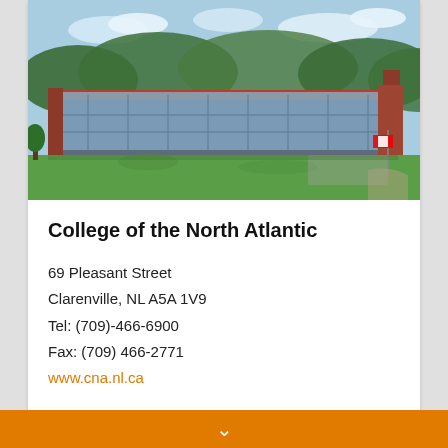[Figure (photo): Aerial/elevated photo of College of the North Atlantic building in Clarenville — a large modern multi-story brick and glass structure surrounded by green lawn and trees with hills in background, Canadian flag visible at right]
College of the North Atlantic
69 Pleasant Street
Clarenville, NL A5A 1V9
Tel: (709)-466-6900
Fax: (709) 466-2771
www.cna.nl.ca